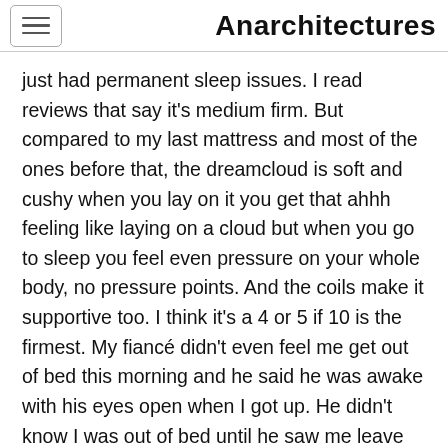Anarchitectures
just had permanent sleep issues. I read reviews that say it's medium firm. But compared to my last mattress and most of the ones before that, the dreamcloud is soft and cushy when you lay on it you get that ahhh feeling like laying on a cloud but when you go to sleep you feel even pressure on your whole body, no pressure points. And the coils make it supportive too. I think it's a 4 or 5 if 10 is the firmest. My fiancé didn't even feel me get out of bed this morning and he said he was awake with his eyes open when I got up. He didn't know I was out of bed until he saw me leave the room. This mattress is a dream come true for me. Absolutely life changing. I highly recommend if you are looking for something like lovely huggy cloud.